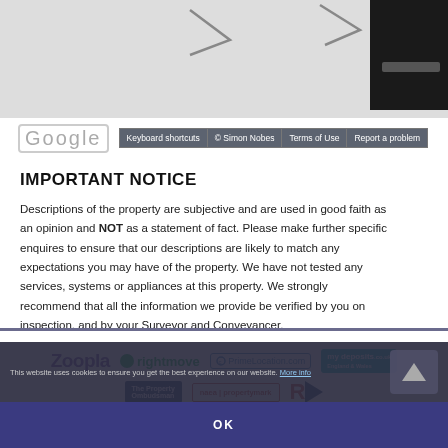[Figure (screenshot): Partial Google Maps view with arrow navigation icons, dark panel at top right, and Google logo with navigation bar showing 'Keyboard shortcuts', '© Simon Nobes', 'Terms of Use', 'Report a problem']
IMPORTANT NOTICE
Descriptions of the property are subjective and are used in good faith as an opinion and NOT as a statement of fact. Please make further specific enquires to ensure that our descriptions are likely to match any expectations you may have of the property. We have not tested any services, systems or appliances at this property. We strongly recommend that all the information we provide be verified by you on inspection, and by your Surveyor and Conveyancer.
[Figure (logo): Footer logos: Zoopla, rightmove, PrimeLocation.com, mydeposits, The Property Ombudsman, naea propertymark, RL logo]
This website uses cookies to ensure you get the best experience on our website. More info
OK